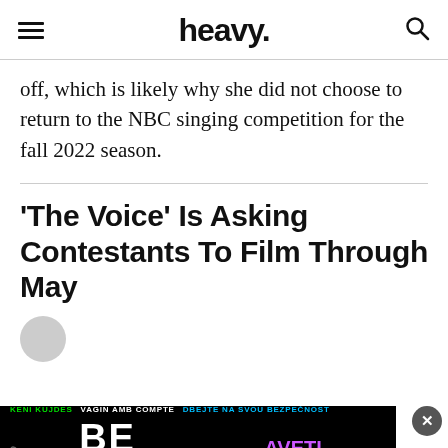heavy.
off, which is likely why she did not choose to return to the NBC singing competition for the fall 2022 season.
'The Voice' Is Asking Contestants To Film Through May
[Figure (other): Circular author avatar placeholder]
[Figure (other): Advertisement banner reading BE SAFE in multiple languages]